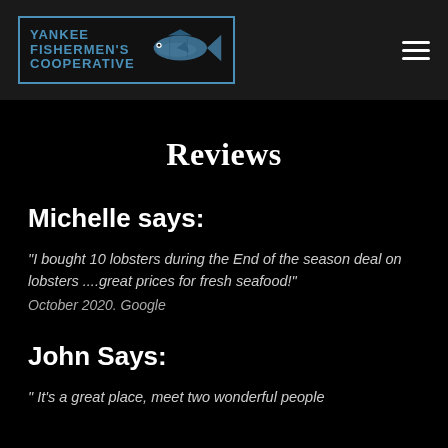YANKEE FISHERMEN'S COOPERATIVE
Reviews
Michelle says:
"I bought 10 lobsters during the End of the season deal on lobsters ....great prices for fresh seafood!"
October 2020. Google
John Says:
"It's a great place, meet two wonderful people